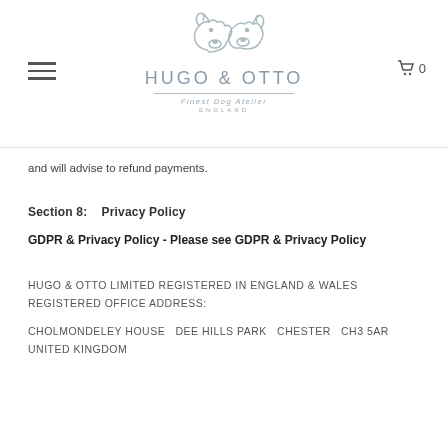[Figure (logo): Hugo & Otto logo with two dog outlines above the brand name, tagline 'Finest Dog Atelier ENGLAND']
and will advise to refund payments.
Section 8:    Privacy Policy
GDPR & Privacy Policy - Please see GDPR & Privacy Policy
HUGO & OTTO LIMITED REGISTERED IN ENGLAND & WALES REGISTERED OFFICE ADDRESS:
CHOLMONDELEY HOUSE   DEE HILLS PARK   CHESTER   CH3 5AR   UNITED KINGDOM